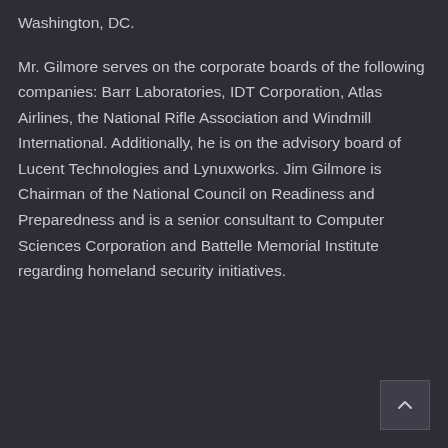Washington, DC.
Mr. Gilmore serves on the corporate boards of the following companies: Barr Laboratories, IDT Corporation, Atlas Airlines, the National Rifle Association and Windmill International. Additionally, he is on the advisory board of Lucent Technologies and Lynuxworks. Jim Gilmore is Chairman of the National Council on Readiness and Preparedness and is a senior consultant to Computer Sciences Corporation and Battelle Memorial Institute regarding homeland security initiatives.